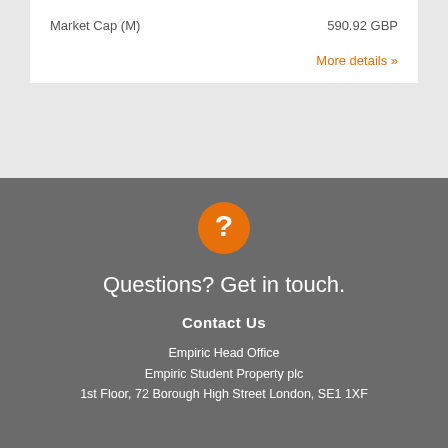|  |  |
| --- | --- |
| Market Cap (M) | 590.92 GBP |
More details »
[Figure (illustration): Orange circle with white question mark icon]
Questions? Get in touch.
Contact Us
Empiric Head Office
Empiric Student Property plc
1st Floor, 72 Borough High Street London, SE1 1XF